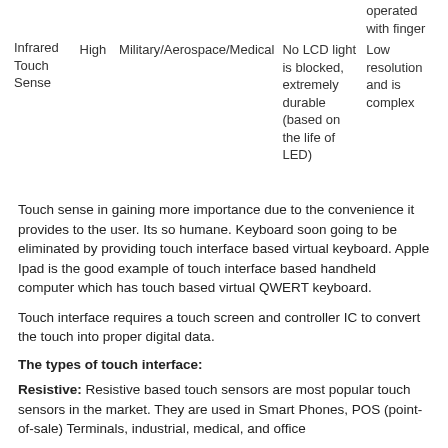| Infrared Touch Sense | High | Military/Aerospace/Medical | No LCD light is blocked, extremely durable (based on the life of LED) | operated with finger Low resolution and is complex |
Touch sense in gaining more importance due to the convenience it provides to the user. Its so humane. Keyboard soon going to be eliminated by providing touch interface based virtual keyboard. Apple Ipad is the good example of touch interface based handheld computer which has touch based virtual QWERT keyboard.
Touch interface requires a touch screen and controller IC to convert the touch into proper digital data.
The types of touch interface:
Resistive: Resistive based touch sensors are most popular touch sensors in the market. They are used in Smart Phones, POS (point-of-sale) Terminals, industrial, medical, and office